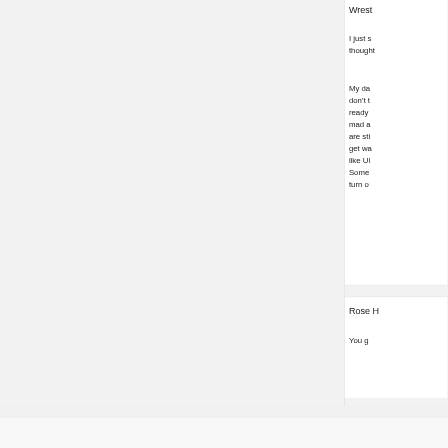Wrest
I just s thought
My da don't t ready mad a are sti get wa like Ul Some turn o
Rose H
You g